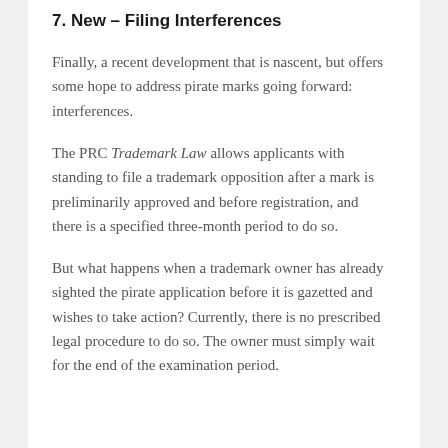7. New – Filing Interferences
Finally, a recent development that is nascent, but offers some hope to address pirate marks going forward: interferences.
The PRC Trademark Law allows applicants with standing to file a trademark opposition after a mark is preliminarily approved and before registration, and there is a specified three-month period to do so.
But what happens when a trademark owner has already sighted the pirate application before it is gazetted and wishes to take action? Currently, there is no prescribed legal procedure to do so. The owner must simply wait for the end of the examination period.